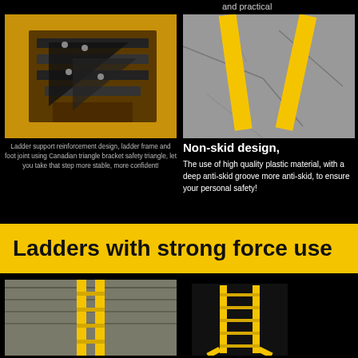and practical
[Figure (photo): Close-up of yellow ladder frame with black metal triangle bracket joint reinforcement]
[Figure (photo): Yellow ladder feet on concrete floor showing non-skid base design]
Ladder support reinforcement design, ladder frame and foot joint using Canadian triangle bracket safety triangle, let you take that step more stable, more confident!
Non-skid design,
The use of high quality plastic material, with a deep anti-skid groove more anti-skid, to ensure your personal safety!
Ladders with strong force use
[Figure (photo): Yellow ladder leaning against industrial ceiling/rooftop structure]
[Figure (photo): Yellow step ladder shown in full view standing upright]